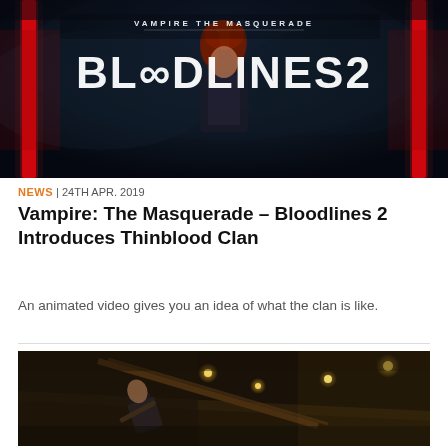[Figure (photo): Promotional key art for Vampire: The Masquerade – Bloodlines 2. Dark atmospheric image showing a woman with red hair and the large stylized text 'VAMPIRE THE MASQUERADE BLOODLINES 2' with glowing red neon bar elements on either side.]
NEWS | 24TH APR. 2019
Vampire: The Masquerade – Bloodlines 2 Introduces Thinblood Clan
An animated video gives you an idea of what the clan is like.
[Figure (photo): Dark moody in-game screenshot from Bloodlines 2 showing a vampire character on a staircase with warm yellow lantern lights glowing in a dimly lit interior environment.]